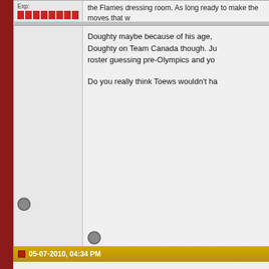Exp: [red bars]
Doughty maybe because of his age, Doughty on Team Canada though. Just roster guessing pre-Olympics and you Do you really think Toews wouldn't ha
05-07-2010, 04:34 PM
JiriHrdina
I believe in the Pony Power
[Figure (illustration): Cartoon pony character dressed as a Christmas tree with lights and a star on top, wearing a Santa hat]
Join Date: Jul 2003
Exp: [red bars]
Quote:
Originally Posted by VladtheImp
The fact that we kept Kronwall a suggestive of something...
Not sure why you are comparing thos different players who fill completely d
05-07-2010, 04:35 PM